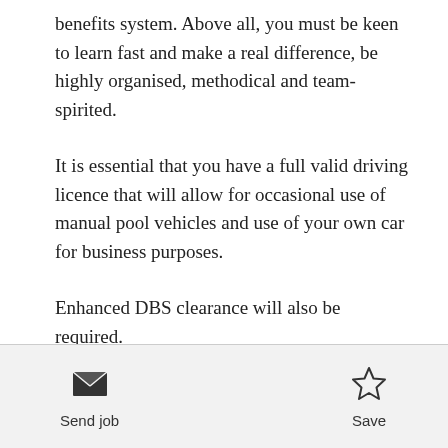benefits system. Above all, you must be keen to learn fast and make a real difference, be highly organised, methodical and team-spirited.
It is essential that you have a full valid driving licence that will allow for occasional use of manual pool vehicles and use of your own car for business purposes.
Enhanced DBS clearance will also be required.
We review CV's when we receive them and interview as soon as we have applications that look like a good match,
[Figure (other): Envelope icon for Send job action]
Send job
[Figure (other): Star icon for Save action]
Save